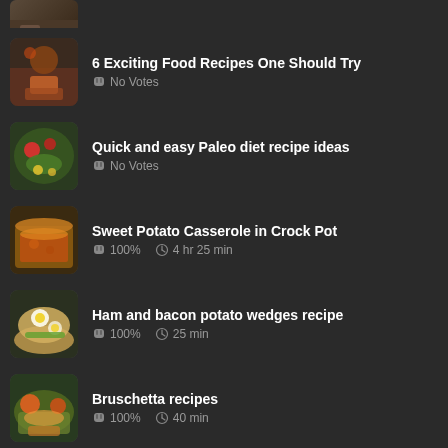(partial item, cropped at top)
6 Exciting Food Recipes One Should Try — No Votes
Quick and easy Paleo diet recipe ideas — No Votes
Sweet Potato Casserole in Crock Pot — 100% — 4 hr 25 min
Ham and bacon potato wedges recipe — 100% — 25 min
Bruschetta recipes — 100% — 40 min
Ham Potato Pancakes recipe — 100% — 25 min